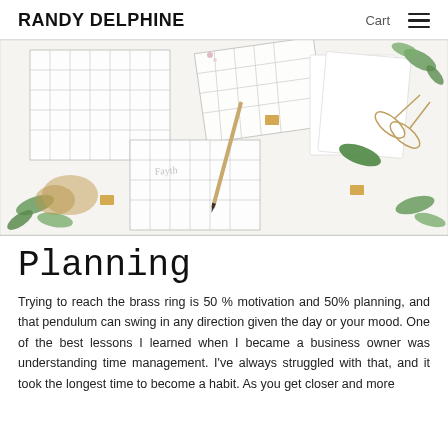RANDY DELPHINE   Cart  ☰
[Figure (photo): Flat lay photo of planning calendars/grids with botanical elements, gold clips, scissors, a notebook, greenery leaves, and ribbon on a white surface.]
Planning
Trying to reach the brass ring is 50 % motivation and 50% planning, and that pendulum can swing in any direction given the day or your mood. One of the best lessons I learned when I became a business owner was understanding time management. I've always struggled with that, and it took the longest time to become a habit. As you get closer and more